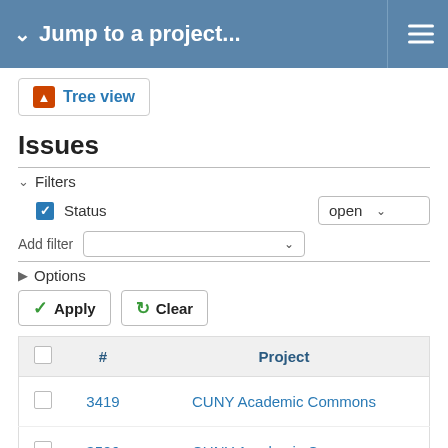Jump to a project...
[Figure (screenshot): Tree view button with orange warning icon]
Issues
Filters
Status   open
Add filter
Options
Apply   Clear
|  | # | Project |
| --- | --- | --- |
|  | 3419 | CUNY Academic Commons |
|  | 3506 | CUNY Academic Commons |